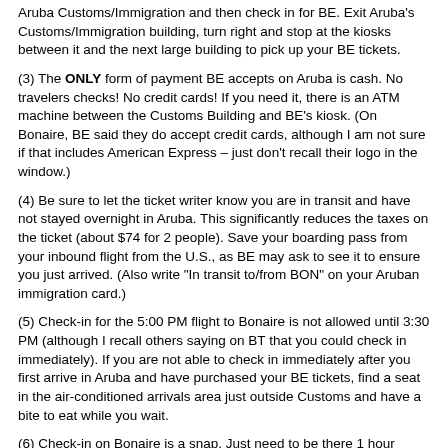Aruba Customs/Immigration and then check in for BE. Exit Aruba's Customs/Immigration building, turn right and stop at the kiosks between it and the next large building to pick up your BE tickets.
(3) The ONLY form of payment BE accepts on Aruba is cash. No travelers checks! No credit cards! If you need it, there is an ATM machine between the Customs Building and BE's kiosk. (On Bonaire, BE said they do accept credit cards, although I am not sure if that includes American Express – just don't recall their logo in the window.)
(4) Be sure to let the ticket writer know you are in transit and have not stayed overnight in Aruba. This significantly reduces the taxes on the ticket (about $74 for 2 people). Save your boarding pass from your inbound flight from the U.S., as BE may ask to see it to ensure you just arrived. (Also write "In transit to/from BON" on your Aruban immigration card.)
(5) Check-in for the 5:00 PM flight to Bonaire is not allowed until 3:30 PM (although I recall others saying on BT that you could check in immediately). If you are not able to check in immediately after you first arrive in Aruba and have purchased your BE tickets, find a seat in the air-conditioned arrivals area just outside Customs and have a bite to eat while you wait.
(6) Check-in on Bonaire is a snap. Just need to be there 1 hour before your flight and through security 30 minutes before departure.
(7) BE announcements in Aruba were in English. BE announcements in the Bonaire departure lounge appeared to be only in Papiamentu, but if you listen carefully, you can hear the word Aruba or Curacao. Just watch